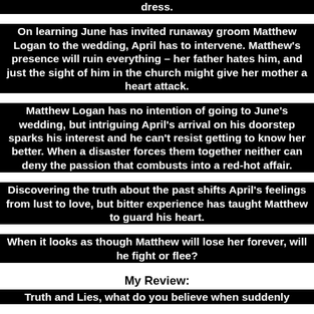dress.
On learning June has invited runaway groom Matthew Logan to the wedding, April has to intervene. Matthew's presence will ruin everything – her father hates him, and just the sight of him in the church might give her mother a heart attack.
Matthew Logan has no intention of going to June's wedding, but intriguing April's arrival on his doorstep sparks his interest and he can't resist getting to know her better. When a disaster forces them together neither can deny the passion that combusts into a red-hot affair.
Discovering the truth about the past shifts April's feelings from lust to love, but bitter experience has taught Matthew to guard his heart.
When it looks as though Matthew will lose her forever, will he fight or flee?
My Review:
Truth and Lies, what do you believe when suddenly